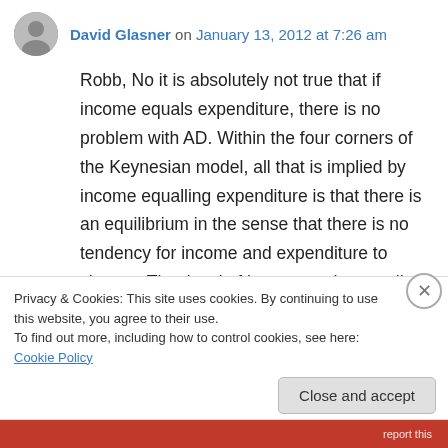David Glasner on January 13, 2012 at 7:26 am
Robb, No it is absolutely not true that if income equals expenditure, there is no problem with AD. Within the four corners of the Keynesian model, all that is implied by income equalling expenditure is that there is an equilibrium in the sense that there is no tendency for income and expenditure to change. That level of income and expenditure is not necessarily sufficient to generate full employment. Deficient AD is not the
Privacy & Cookies: This site uses cookies. By continuing to use this website, you agree to their use.
To find out more, including how to control cookies, see here: Cookie Policy
Close and accept